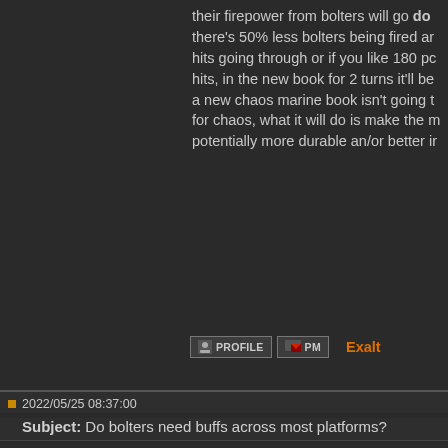their firepower from bolters will go dow there's 50% less bolters being fired an hits going through or if you like 180 po hits, in the new book for 2 turns it'll be a new chaos marine book isn't going t for chaos, what it will do is make the m potentially more durable an/or better i
PROFILE | PM | Exalt
2022/05/25 08:37:00
Subject: Do bolters need buffs across most platforms?
Blackkie — Waaagh! Ork Warboss — Gallery Votes: 0 — Posts: 7430 — Joined: 2016/12/29 12:52:58 — Location: Italy — Offline — Filter Thread
It doesn't matter if it "doesn't fix the bo end up a solid army with the new code done. If they are going to be more dur better in melee, then better bolters on might be problematic.

My point is that armies like SM or siste need to be more killy. So they don't ne